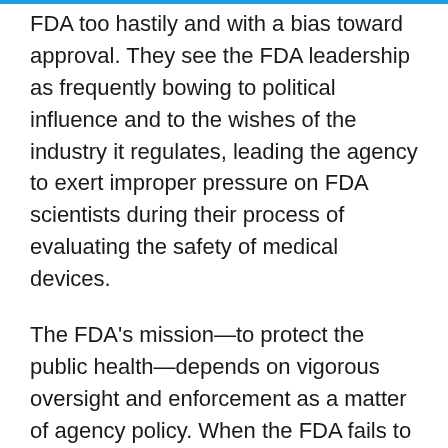FDA too hastily and with a bias toward approval. They see the FDA leadership as frequently bowing to political influence and to the wishes of the industry it regulates, leading the agency to exert improper pressure on FDA scientists during their process of evaluating the safety of medical devices.
The FDA's mission—to protect the public health—depends on vigorous oversight and enforcement as a matter of agency policy. When the FDA fails to enforce certain regulations, the consequences can be